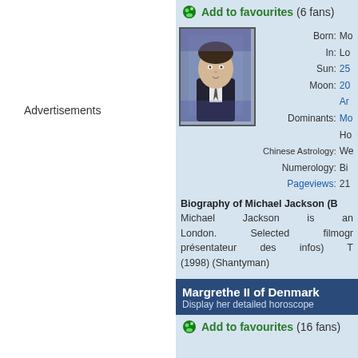Add to favourites (6 fans)
Advertisements
[Figure (photo): Photo of Michael Jackson (actor/presenter) in a dark suit against purple background]
Born: Mo
In: Lo
Sun: 25
Moon: 20
Ar
Dominants: Mo
Ho
Chinese Astrology: We
Numerology: Bi
Pageviews: 21
Biography of Michael Jackson (B
Michael Jackson is an London. Selected filmogr présentateur des infos) T (1998) (Shantyman)
Margrethe II of Denmark
Display her detailed horoscope
Add to favourites (16 fans)